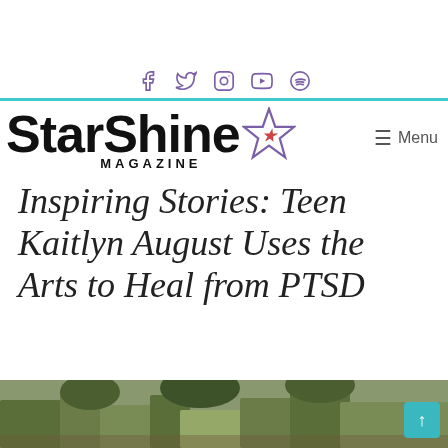StarShine MAGAZINE
Inspiring Stories: Teen Kaitlyn August Uses the Arts to Heal from PTSD
[Figure (photo): Outdoor scene with trees and foliage, partial view at bottom of page]